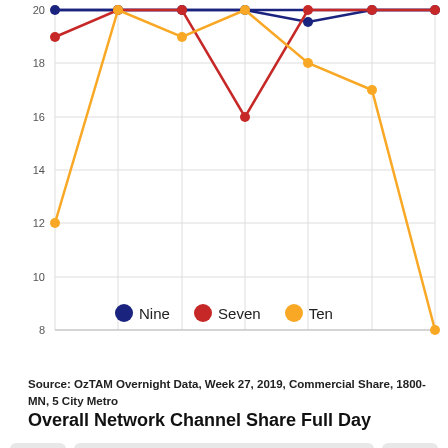[Figure (line-chart): ]
Source: OzTAM Overnight Data, Week 27, 2019, Commercial Share, 1800-MN, 5 City Metro
Overall Network Channel Share Full Day
< 25-54s ∨ >